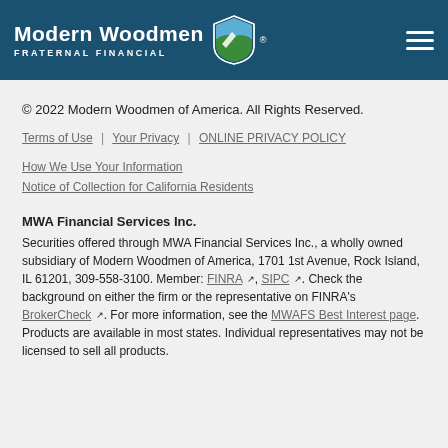[Figure (logo): Modern Woodmen Fraternal Financial logo with shield icon on dark teal header bar with hamburger menu icon]
© 2022 Modern Woodmen of America. All Rights Reserved.
Terms of Use | Your Privacy | ONLINE PRIVACY POLICY
How We Use Your Information
Notice of Collection for California Residents
MWA Financial Services Inc. Securities offered through MWA Financial Services Inc., a wholly owned subsidiary of Modern Woodmen of America, 1701 1st Avenue, Rock Island, IL 61201, 309-558-3100. Member: FINRA, SIPC. Check the background on either the firm or the representative on FINRA's BrokerCheck. For more information, see the MWAFS Best Interest page. Products are available in most states. Individual representatives may not be licensed to sell all products.